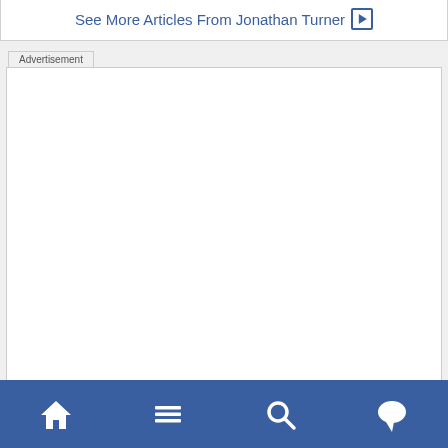See More Articles From Jonathan Turner ▶
[Figure (screenshot): Advertisement placeholder box with 'Advertisement' label at top left]
Navigation bar with home, menu, search, and chat icons